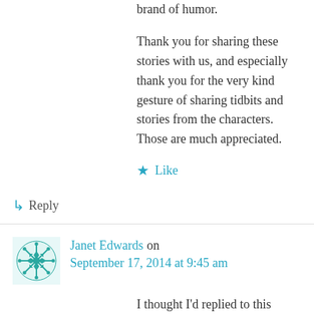brand of humor.
Thank you for sharing these stories with us, and especially thank you for the very kind gesture of sharing tidbits and stories from the characters. Those are much appreciated.
Like
↳ Reply
Janet Edwards on September 17, 2014 at 9:45 am
I thought I'd replied to this weeks ago, but I must have messed up saving the comment. It's great to hear from a Mason Leveque fan. As the author, I'm not just in Jarra's head and seeing her view of things, but also in the heads of all the other characters as well. That's why it's fun for